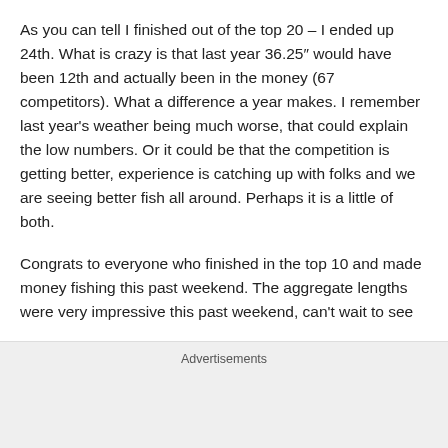As you can tell I finished out of the top 20 – I ended up 24th. What is crazy is that last year 36.25″ would have been 12th and actually been in the money (67 competitors). What a difference a year makes. I remember last year's weather being much worse, that could explain the low numbers. Or it could be that the competition is getting better, experience is catching up with folks and we are seeing better fish all around. Perhaps it is a little of both.
Congrats to everyone who finished in the top 10 and made money fishing this past weekend. The aggregate lengths were very impressive this past weekend, can't wait to see
Advertisements